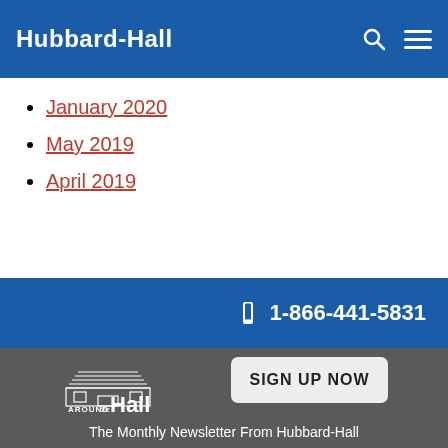Hubbard-Hall
January 2020
May 2019
April 2019
1-866-441-5831
[Figure (logo): Around the Hall newsletter logo with building illustration and SIGN UP NOW button]
The Monthly Newsletter From Hubbard-Hall